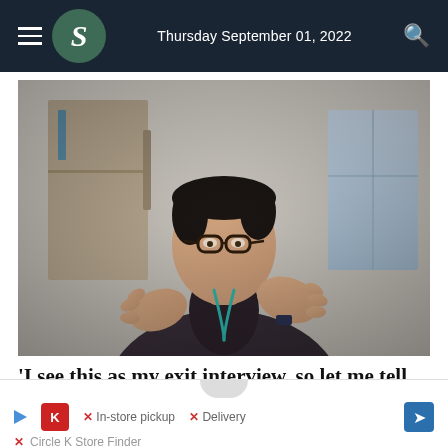Thursday September 01, 2022
[Figure (photo): A middle-aged Asian man with glasses and dark hair, wearing a dark blazer and a teal lanyard, gesturing with both hands while speaking. He appears to be in an office or conference room setting.]
'I see this as my exit interview, so let me tell you...': Outgoing UNDP Resident
[Figure (other): Advertisement banner partially visible: Circle K store finder ad showing 'X In-store pickup X Delivery' with a Circle K logo and navigation/arrow icons.]